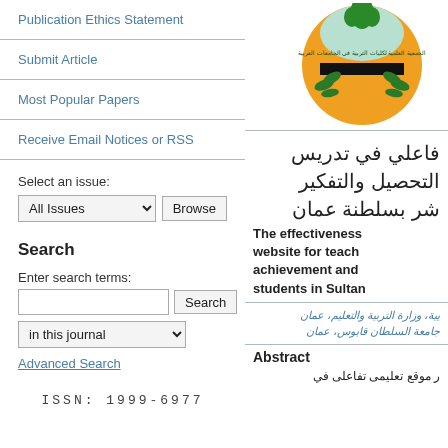Publication Ethics Statement
Submit Article
Most Popular Papers
Receive Email Notices or RSS
Select an issue:
All Issues  Browse
Search
Enter search terms:
in this journal
Advanced Search
ISSN: 1999-6977
[Figure (logo): Circular logo with Arabic text and green leaf/olive branch design on orange background]
فاعلي في تدريس التحصيل والتفكير شر بسلطنة عمان The effectiveness website for teaching achievement and students in Sultan
وزارة التربية والتعليم، عمان جامعة السلطان قابوس، عمان
Abstract
ر موقع تعلیمی تفاعلی في